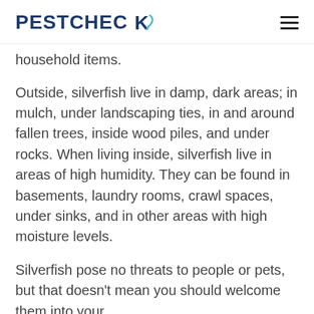PESTCHECK
household items.
Outside, silverfish live in damp, dark areas; in mulch, under landscaping ties, in and around fallen trees, inside wood piles, and under rocks. When living inside, silverfish live in areas of high humidity. They can be found in basements, laundry rooms, crawl spaces, under sinks, and in other areas with high moisture levels.
Silverfish pose no threats to people or pets, but that doesn't mean you should welcome them into your